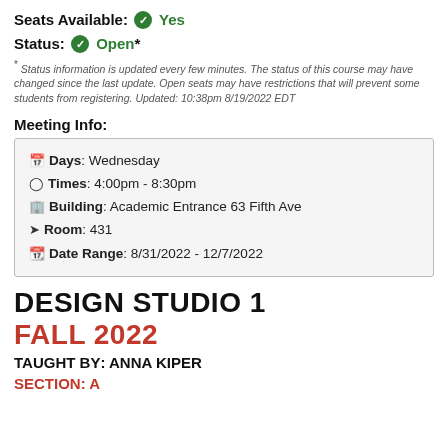Seats Available: ✔ Yes
Status: ✔ Open*
* Status information is updated every few minutes. The status of this course may have changed since the last update. Open seats may have restrictions that will prevent some students from registering. Updated: 10:38pm 8/19/2022 EDT
Meeting Info:
| Days: Wednesday |
| Times: 4:00pm - 8:30pm |
| Building: Academic Entrance 63 Fifth Ave |
| Room: 431 |
| Date Range: 8/31/2022 - 12/7/2022 |
DESIGN STUDIO 1
FALL 2022
TAUGHT BY: ANNA KIPER
SECTION: A